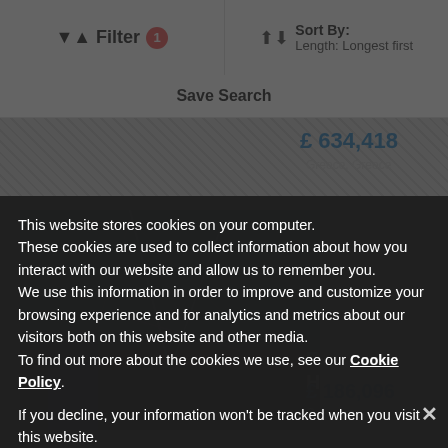Filter 1 | Sort By: Length: Longest first
Save Search
£ 634,418
Greece, Greece
[Figure (photo): Sailing yacht photo in harbor]
Formosa New Horizon
£ 186,096
Copenhagen, Denmark
This website stores cookies on your computer. These cookies are used to collect information about how you interact with our website and allow us to remember you. We use this information in order to improve and customize your browsing experience and for analytics and metrics about our visitors both on this website and other media. To find out more about the cookies we use, see our Cookie Policy.
If you decline, your information won't be tracked when you visit this website. A single cookie will be used in your browser to remember your preference not to be tracked.
2005 Nordia 65
£ 634,418
Deny
Accept Cookies